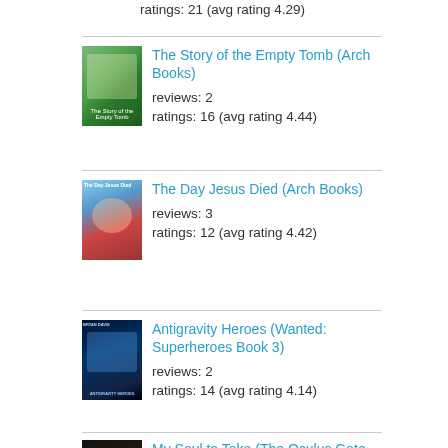ratings: 21 (avg rating 4.29)
[Figure (photo): Book cover for The Story of the Empty Tomb (Arch Books)]
The Story of the Empty Tomb (Arch Books)
reviews: 2
ratings: 16 (avg rating 4.44)
[Figure (photo): Book cover for The Day Jesus Died (Arch Books)]
The Day Jesus Died (Arch Books)
reviews: 3
ratings: 12 (avg rating 4.42)
[Figure (photo): Book cover for Antigravity Heroes (Wanted: Superheroes Book 3)]
Antigravity Heroes (Wanted: Superheroes Book 3)
reviews: 2
ratings: 14 (avg rating 4.14)
[Figure (photo): Book cover for My Soul to Take (The Oculus Gate, #3)]
My Soul to Take (The Oculus Gate, #3)
reviews: 2